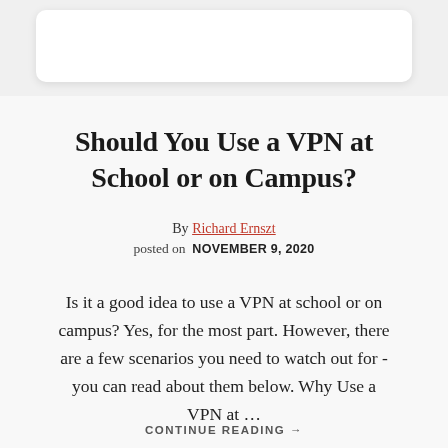[Figure (other): White rounded card/box at the top of the page over a grey background]
Should You Use a VPN at School or on Campus?
By Richard Ernszt
posted on  NOVEMBER 9, 2020
Is it a good idea to use a VPN at school or on campus? Yes, for the most part. However, there are a few scenarios you need to watch out for - you can read about them below. Why Use a VPN at …
CONTINUE READING →